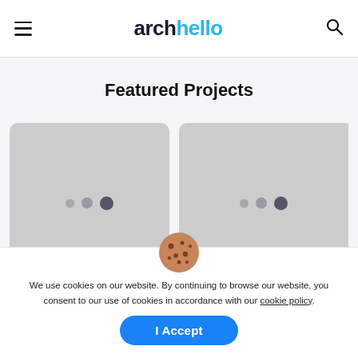archello
Featured Projects
[Figure (illustration): Loading placeholder card for CASA ACO project with three dots indicating loading state]
[Figure (illustration): Loading placeholder card for Magenta House project with three dots indicating loading state]
CASA ACO
d Magenta House
We use cookies on our website. By continuing to browse our website, you consent to our use of cookies in accordance with our cookie policy.
I Accept